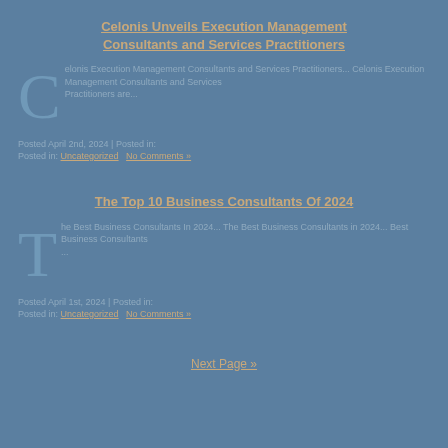Celonis Unveils Execution Management Consultants and Services Practitioners
Celonis Execution Management consultants and services practitioners...
Posted April 2nd, 2024 | Posted in: Uncategorized | No Comments »
The Top 10 Business Consultants Of 2024
The Best Business Consultants In 2024...
Posted April 1st, 2024 | Posted in: Uncategorized | No Comments »
Next Page »